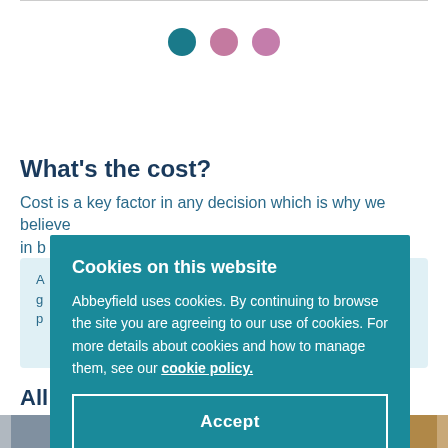[Figure (other): Three circular dot indicators: first dot is teal/dark cyan, second and third dots are pink/mauve, used as carousel or step indicators]
What's the cost?
Cost is a key factor in any decision which is why we believe in b...
A... g... p...
All
[Figure (photo): Two photos side by side: left shows a person in white clothing, right shows a plate of food with a drink]
Cookies on this website
Abbeyfield uses cookies. By continuing to browse the site you are agreeing to our use of cookies. For more details about cookies and how to manage them, see our cookie policy.
Accept